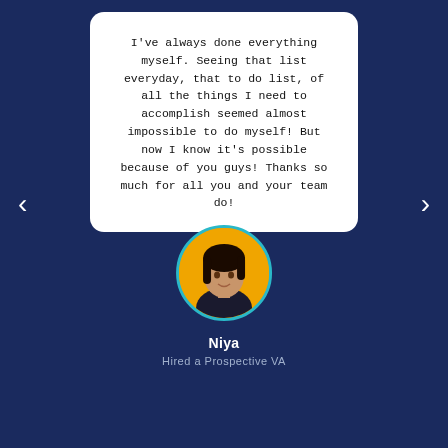I've always done everything myself. Seeing that list everyday, that to do list, of all the things I need to accomplish seemed almost impossible to do myself! But now I know it's possible because of you guys! Thanks so much for all you and your team do!
[Figure (photo): Circular avatar photo of a young woman with long dark hair, wearing a black outfit, with a yellow/gold background. The circle has a teal/cyan border.]
Niya
Hired a Prospective VA